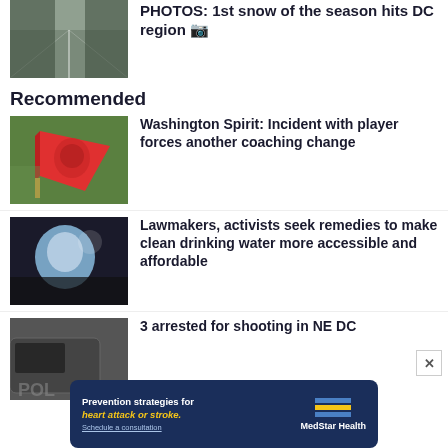[Figure (photo): Snowy road with trees on sides, first snow of the season]
PHOTOS: 1st snow of the season hits DC region 📷
Recommended
[Figure (photo): Washington Spirit red flag/banner held up at a sports event on a green field]
Washington Spirit: Incident with player forces another coaching change
[Figure (photo): Person drinking or splashing water, clean water access story]
Lawmakers, activists seek remedies to make clean drinking water more accessible and affordable
[Figure (photo): Police car door with POLI text visible, arrest story]
3 arrested for shooting in NE DC
[Figure (other): MedStar Health advertisement banner: Prevention strategies for heart attack or stroke. Schedule a consultation.]